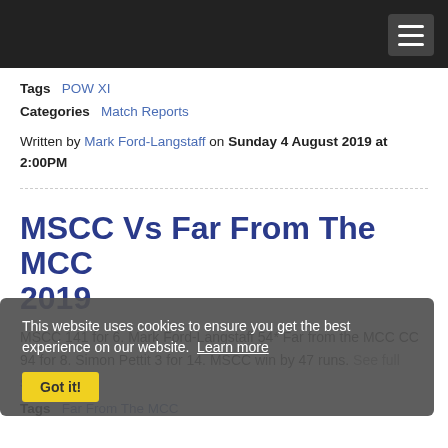Tags  POW XI
Categories  Match Reports
Written by Mark Ford-Langstaff on Sunday 4 August 2019 at 2:00PM
MSCC Vs Far From The MCC 2019
MSCC 141 for 6. Mark Ford-Langstaff 54* Far from the MCC CC 94 for 8. Simon Pettit 3 for 14. MSCC win by 47 runs. See full story...
This website uses cookies to ensure you get the best experience on our website. Learn more Got it!
Tags  Far From The MCC